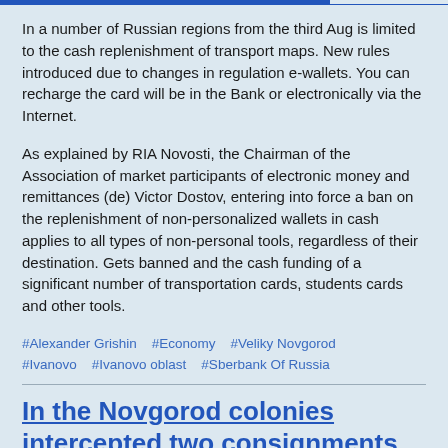In a number of Russian regions from the third Aug is limited to the cash replenishment of transport maps. New rules introduced due to changes in regulation e-wallets. You can recharge the card will be in the Bank or electronically via the Internet.
As explained by RIA Novosti, the Chairman of the Association of market participants of electronic money and remittances (de) Victor Dostov, entering into force a ban on the replenishment of non-personalized wallets in cash applies to all types of non-personal tools, regardless of their destination. Gets banned and the cash funding of a significant number of transportation cards, students cards and other tools.
#Alexander Grishin   #Economy   #Veliky Novgorod   #Ivanovo   #Ivanovo oblast   #Sberbank Of Russia
In the Novgorod colonies intercepted two consignments of phones